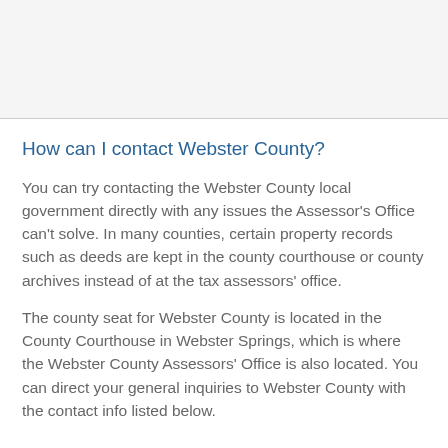How can I contact Webster County?
You can try contacting the Webster County local government directly with any issues the Assessor's Office can't solve. In many counties, certain property records such as deeds are kept in the county courthouse or county archives instead of at the tax assessors' office.
The county seat for Webster County is located in the County Courthouse in Webster Springs, which is where the Webster County Assessors' Office is also located. You can direct your general inquiries to Webster County with the contact info listed below.